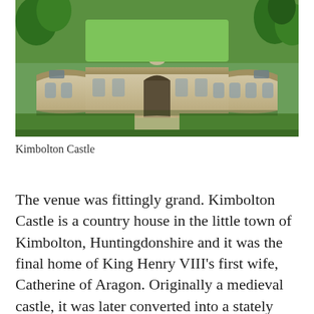[Figure (photo): Aerial view of Kimbolton Castle, showing a grand neoclassical country house with curved wings, arched windows, a central archway, surrounded by green lawns and trees.]
Kimbolton Castle
The venue was fittingly grand. Kimbolton Castle is a country house in the little town of Kimbolton, Huntingdonshire and it was the final home of King Henry VIII's first wife, Catherine of Aragon. Originally a medieval castle, it was later converted into a stately palace and was the family seat of the Dukes of Manchester from 1615 until 1950. It now houses